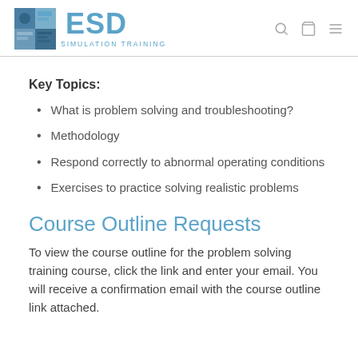ESD SIMULATION TRAINING
Key Topics:
What is problem solving and troubleshooting?
Methodology
Respond correctly to abnormal operating conditions
Exercises to practice solving realistic problems
Course Outline Requests
To view the course outline for the problem solving training course, click the link and enter your email. You will receive a confirmation email with the course outline link attached.